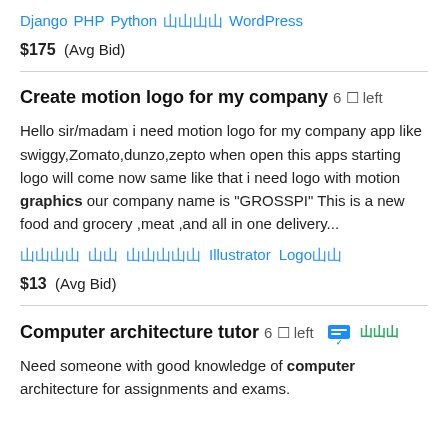Django  PHP  Python  ████  WordPress
$175  (Avg Bid)
Create motion logo for my company  6 █ left
Hello sir/madam i need motion logo for my company app like swiggy,Zomato,dunzo,zepto when open this apps starting logo will come now same like that i need logo with motion graphics our company name is "GROSSPI" This is a new food and grocery ,meat ,and all in one delivery...
████  ██  █████  Illustrator  Logo██
$13  (Avg Bid)
Computer architecture tutor  6 █ left
Need someone with good knowledge of computer architecture for assignments and exams.